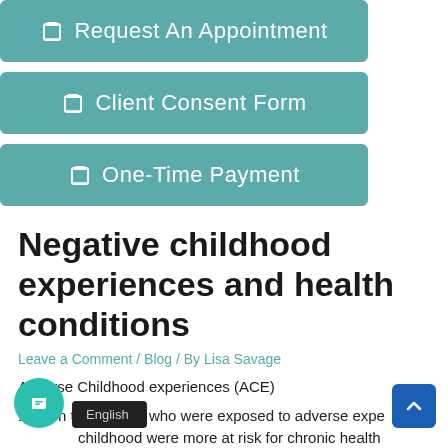[Figure (screenshot): Teal button labeled 'Request An Appointment' with clipboard icon, partially visible at top]
[Figure (screenshot): Teal button labeled 'Client Consent Form' with clipboard icon]
[Figure (screenshot): Teal button labeled 'One-Time Payment' with clipboard icon]
Negative childhood experiences and health conditions
Leave a Comment / Blog / By Lisa Savage
Adverse Childhood experiences (ACE)
...hown that people who were exposed to adverse expe...childhood were more at risk for chronic health
[Figure (screenshot): Floating teal chat button bottom left, language bar showing 'English', blue scroll-to-top button bottom right]